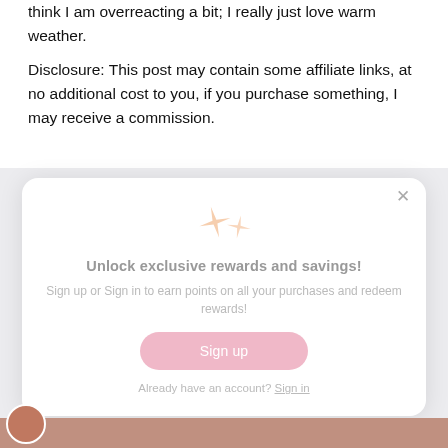think I am overreacting a bit; I really just love warm weather.
Disclosure: This post may contain some affiliate links, at no additional cost to you, if you purchase something, I may receive a commission.
[Figure (screenshot): A modal popup overlay with sparkle icons, title 'Unlock exclusive rewards and savings!', subtitle 'Sign up or Sign in to earn points on all your purchases and redeem rewards!', a pink 'Sign up' button, and 'Already have an account? Sign in' text. A close (×) button is in the top right corner.]